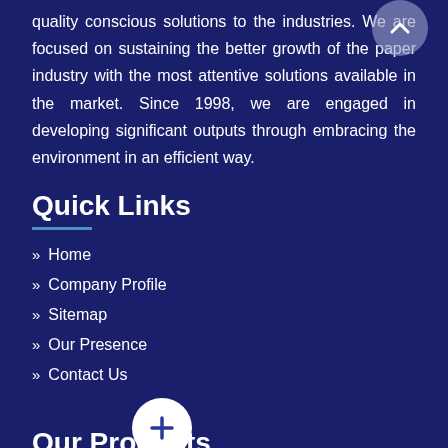quality conscious solutions to the industries. We are focused on sustaining the better growth of the paper industry with the most attentive solutions available in the market. Since 1998, we are engaged in developing significant outputs through embracing the environment in an efficient way.
Quick Links
» Home
» Company Profile
» Sitemap
» Our Presence
» Contact Us
Our Products
» Non Woven Bag Making Machine